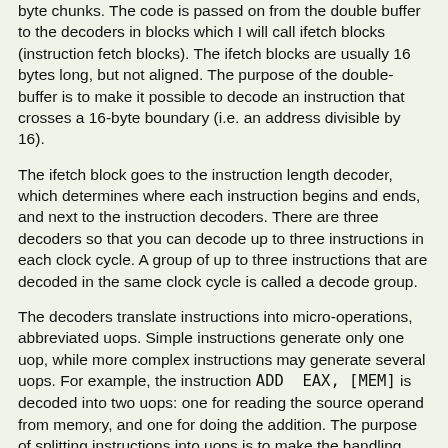byte chunks. The code is passed on from the double buffer to the decoders in blocks which I will call ifetch blocks (instruction fetch blocks). The ifetch blocks are usually 16 bytes long, but not aligned. The purpose of the double-buffer is to make it possible to decode an instruction that crosses a 16-byte boundary (i.e. an address divisible by 16).
The ifetch block goes to the instruction length decoder, which determines where each instruction begins and ends, and next to the instruction decoders. There are three decoders so that you can decode up to three instructions in each clock cycle. A group of up to three instructions that are decoded in the same clock cycle is called a decode group.
The decoders translate instructions into micro-operations, abbreviated uops. Simple instructions generate only one uop, while more complex instructions may generate several uops. For example, the instruction ADD EAX, [MEM] is decoded into two uops: one for reading the source operand from memory, and one for doing the addition. The purpose of splitting instructions into uops is to make the handling later in the system more effective.
The three decoders are called D0, D1, and D2. D0 can handle all instructions, while D1 and D2 can handle only simple instructions that generate one uop.